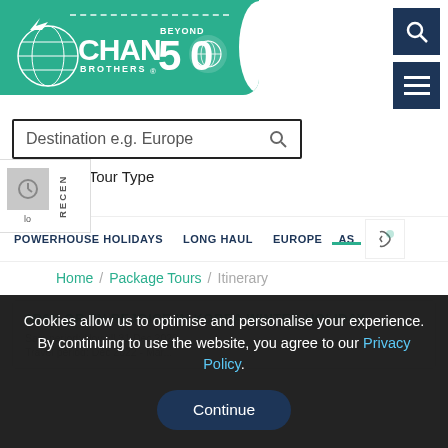[Figure (logo): Chan Brothers Travel logo on green ticket shape with 'Beyond 50' anniversary mark]
[Figure (screenshot): Dark blue search icon button (magnifying glass)]
[Figure (screenshot): Dark blue hamburger menu icon button]
Destination e.g. Europe
All  Tour Type
POWERHOUSE HOLIDAYS   LONG HAUL   EUROPE   AS
Home / Package Tours / Itinerary
8D6N OR 7N REJOICE IN KOREA WINTER HOLIDAY
Sale period: Nov till 31 Dec 2022
Travel period: Dec 2022 - Mar...
Cookies allow us to optimise and personalise your experience. By continuing to use the website, you agree to our Privacy Policy.
Continue